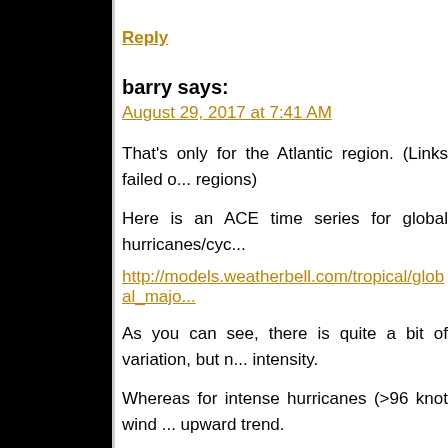Reply
barry says:
August 29, 2017 at 7:41 AM
That's only for the Atlantic region. (Links failed o... regions)
Here is an ACE time series for global hurricanes/cyc...
http://models.weatherbell.com/tropical/global_major...
As you can see, there is quite a bit of variation, but n... intensity.
Whereas for intense hurricanes (>96 knot wind ... upward trend.
You should approve of the website this information c...
http://models.weatherbell.com/tropical.php
Reply